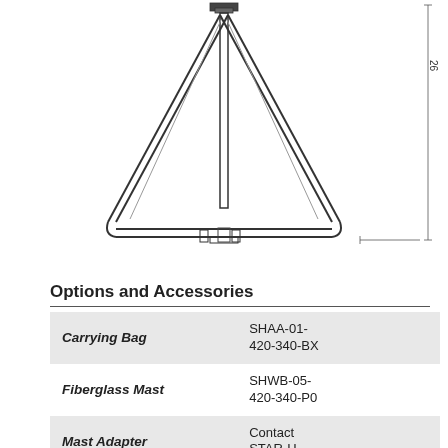[Figure (engineering-diagram): Technical engineering schematic drawing of a tripod or antenna stand viewed from front, showing a conical frame structure with vertical center mast, three legs spreading outward to a triangular base, with dimension annotation '26' on the right side and a horizontal dimension line at bottom right.]
Options and Accessories
| Carrying Bag | SHAA-01-420-340-BX |
| Fiberglass Mast | SHWB-05-420-340-P0 |
| Mast Adapter | Contact STAR-H |
| Black Anodized | SHWB-01- |